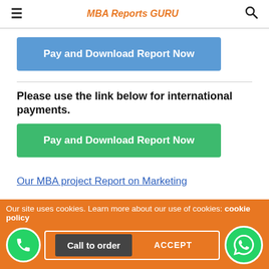MBA Reports GURU
[Figure (other): Blue 'Pay and Download Report Now' button]
Please use the link below for international payments.
[Figure (other): Green 'Pay and Download Report Now' button]
Our MBA project Report on Marketing
Our Other Available MBA Projects Report Categories are:
MBA Project in HR, Operations, Finance,
Our site uses cookies. Learn more about our use of cookies: cookie policy
Call to order   ACCEPT